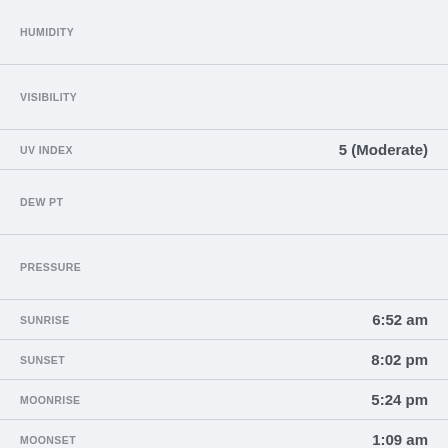| Label | Value |
| --- | --- |
| HUMIDITY |  |
| VISIBILITY |  |
| UV INDEX | 5 (Moderate) |
| DEW PT |  |
| PRESSURE |  |
| SUNRISE | 6:52 am |
| SUNSET | 8:02 pm |
| MOONRISE | 5:24 pm |
| MOONSET | 1:09 am |
| MOON AGE | 9 |
| FEELSLIKE IN THE SHADE | 68° |
| PRECIPITATION PROBABILITY | 40% |